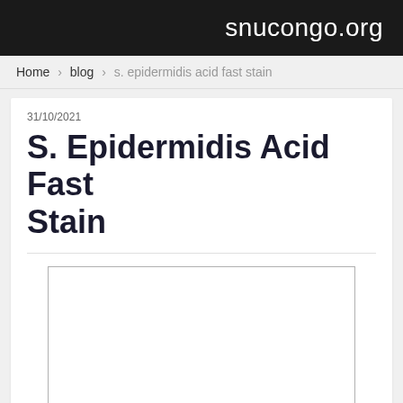snucongo.org
Home › blog › s. epidermidis acid fast stain
31/10/2021
S. Epidermidis Acid Fast Stain
[Figure (photo): Empty white rectangle with grey border, placeholder for an image]